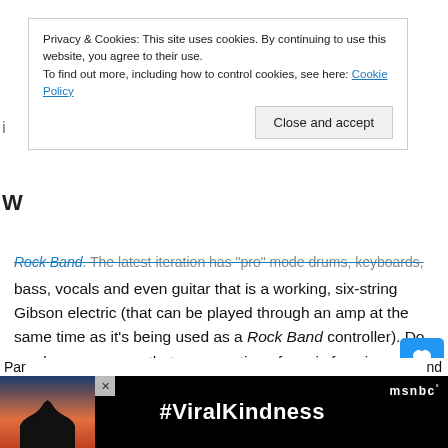Privacy & Cookies: This site uses cookies. By continuing to use this website, you agree to their use. To find out more, including how to control cookies, see here: Cookie Policy
Close and accept
Rock Band. The latest iteration has "pro" mode drums, keyboards, bass, vocals and even guitar that is a working, six-string Gibson electric (that can be played through an amp at the same time as it's being used as a Rock Band controller). Do you have concerns that a generation of music fans is growing up content to "play" plastic instruments that, for the most part, have no direct relationship to the part played by the corresponding recorded instrument on the track? Or are games like Rock Band more like a gateway drug that potentially gets more kids hooked on the music experience, encouraging them to take the step of learning to play a real instrument?
[Figure (screenshot): Advertisement banner with heart hands silhouette and #ViralKindness text on dark background, with MSNBC logo]